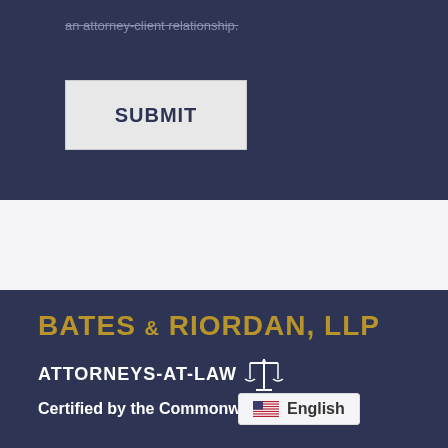an attorney-client relationship.
SUBMIT
BATES & RIORDAN, LLP
ATTORNEYS-AT-LAW
Certified by the Commonwealth s
English